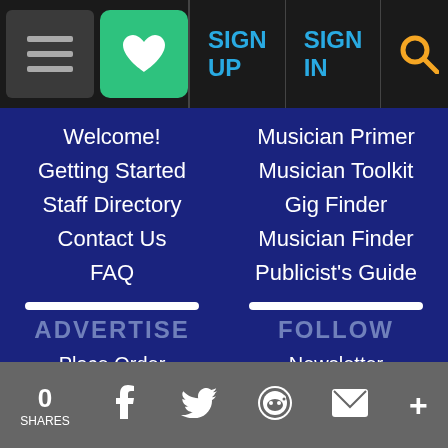Navigation bar with hamburger menu, heart/favorites button, SIGN UP, SIGN IN, and search icon
Welcome!
Getting Started
Staff Directory
Contact Us
FAQ
Musician Primer
Musician Toolkit
Gig Finder
Musician Finder
Publicist's Guide
[Figure (photo): Person in suit shouting through a megaphone outdoors]
ADVERTISE
Place Order
Rates and Options
[Figure (photo): Musician with instrument raised above crowd at outdoor concert]
FOLLOW
Newsletter
Embeddables
0 SHARES | Facebook | Twitter | Reddit | Email | More